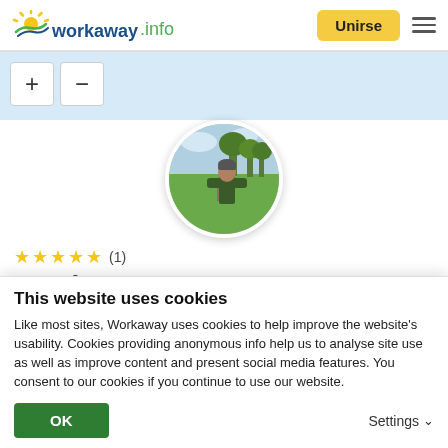workaway.info — Unirse
[Figure (photo): Workaway.info logo with sun icon, blue and green text]
[Figure (screenshot): Map zoom in (+) and out (-) buttons on light blue map background]
[Figure (photo): Circular profile photo of a person (Matthew) standing in a green field with trees in background, wearing a dark jacket and beanie hat]
★★★★★ (1)
Matthew
This website uses cookies
Like most sites, Workaway uses cookies to help improve the website's usability. Cookies providing anonymous info help us to analyse site use as well as improve content and present social media features.  You consent to our cookies if you continue to use our website.
OK
Settings